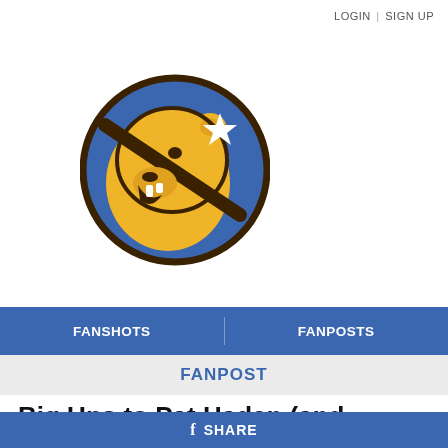LOGIN | SIGN UP
[Figure (logo): Circular blue logo with a yellow/gold roaring bear head and white star, outlined in dark brown, on a blue background — California Golden Bears / Bruins style sports logo]
FANSHOTS | FANPOSTS
FANPOST
Big Ups to Pat Haden (and
f SHARE